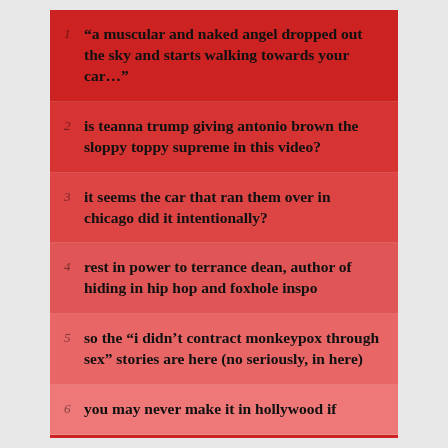“a muscular and naked angel dropped out the sky and starts walking towards your car…”
is teanna trump giving antonio brown the sloppy toppy supreme in this video?
it seems the car that ran them over in chicago did it intentionally?
rest in power to terrance dean, author of hiding in hip hop and foxhole inspo
so the “i didn’t contract monkeypox through sex” stories are here (no seriously, in here)
you may never make it in hollywood if